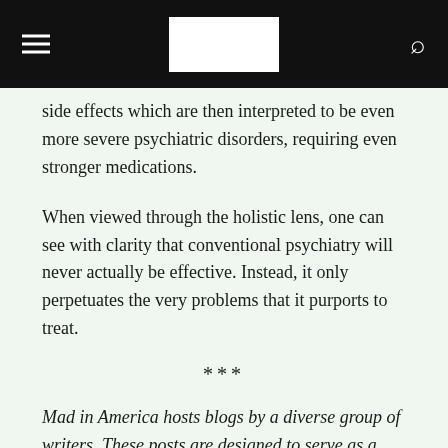[navigation bar with hamburger menu, logo, and search icon]
side effects which are then interpreted to be even more severe psychiatric disorders, requiring even stronger medications.
When viewed through the holistic lens, one can see with clarity that conventional psychiatry will never actually be effective. Instead, it only perpetuates the very problems that it purports to treat.
***
Mad in America hosts blogs by a diverse group of writers. These posts are designed to serve as a public forum for a discussion—broadly speaking—of psychiatry and its treatments. The opinions expressed are the writers' own.